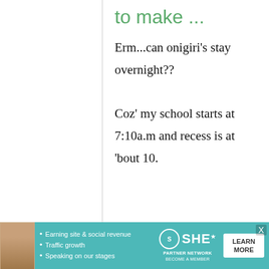to make ...
Erm...can onigiri's stay overnight?? Coz' my school starts at 7:10a.m and recess is at 'bout 10.
maki
28 September, 2009 - 01:48
permalink
Re: Onigiri (Omusubi) revisited:
[Figure (screenshot): Advertisement banner for SHE Partner Network featuring a woman's photo, bullet points about earning site & social revenue, traffic growth, speaking on stages, the SHE logo, and a Learn More button.]